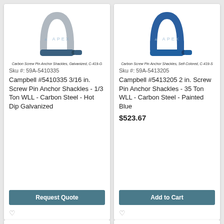[Figure (photo): Campbell carbon steel galvanized screw pin anchor shackle, silver U-shape with blue pin]
Carbon Screw Pin Anchor Shackles, Galvanized, C-419-G
Sku #: 59A-5410335
Campbell #5410335 3/16 in. Screw Pin Anchor Shackles - 1/3 Ton WLL - Carbon Steel - Hot Dip Galvanized
Request Quote
[Figure (photo): Campbell carbon steel blue painted screw pin anchor shackle, all blue]
Carbon Screw Pin Anchor Shackles, Self-Colored, C-419-S
Sku #: 59A-5413205
Campbell #5413205 2 in. Screw Pin Anchor Shackles - 35 Ton WLL - Carbon Steel - Painted Blue
$523.67
Add to Cart
[Figure (photo): Partial view of Campbell chain/shackle product with Campbell logo banner]
[Figure (photo): Partial view of Campbell chain/shackle product with Campbell logo banner]
Contact